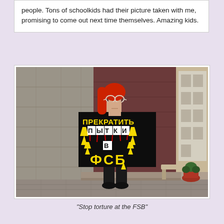people. Tons of schoolkids had their picture taken with me, promising to come out next time themselves. Amazing kids.
[Figure (photo): A person with red hair and round sunglasses stands on a sidewalk holding a large hand-painted protest sign reading 'ПРЕКРАТИТЬ ПЫТКИ В ФСБ' (Stop torture at the FSB) with lightning bolt imagery. The person is wearing all black clothing and shoes. The background shows a stone/brick building exterior and a window display.]
“Stop torture at the FSB”